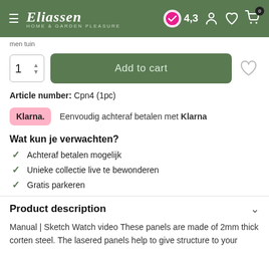Eliassen — Home & Garden Pleasure — Rating 4,3 — Cart 0
men tuin
1  Add to cart
Article number: Cpn4 (1pc)
Klarna.  Eenvoudig achteraf betalen met Klarna
Wat kun je verwachten?
Achteraf betalen mogelijk
Unieke collectie live te bewonderen
Gratis parkeren
Product description
Manual | Sketch Watch video These panels are made of 2mm thick corten steel. The lasered panels help to give structure to your garden and are sustainable in use for a long time.